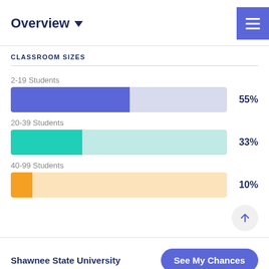Overview
CLASSROOM SIZES
[Figure (bar-chart): Classroom Sizes]
Shawnee State University  See My Chances